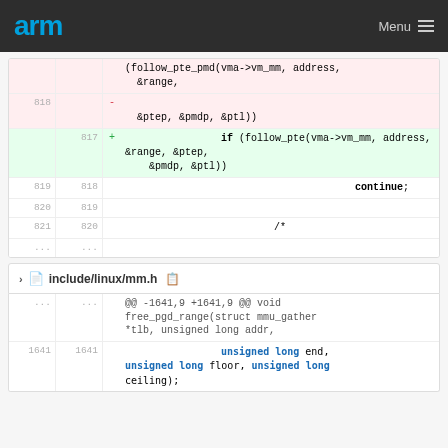arm  Menu
| old | new | sign | code |
| --- | --- | --- | --- |
|  |  |  | (follow_pte_pmd(vma->vm_mm, address, &range, |
| 818 |  | - | &ptep, &pmdp, &ptl)) |
|  | 817 | + | if (follow_pte(vma->vm_mm, address, &range, &ptep, &pmdp, &ptl)) |
| 819 | 818 |  | continue; |
| 820 | 819 |  |  |
| 821 | 820 |  | /* |
| ... | ... |  |  |
include/linux/mm.h
| old | new | sign | code |
| --- | --- | --- | --- |
| ... | ... |  | @@ -1641,9 +1641,9 @@ void free_pgd_range(struct mmu_gather *tlb, unsigned long addr, |
| 1641 | 1641 |  | unsigned long end, unsigned long floor, unsigned long ceiling; |